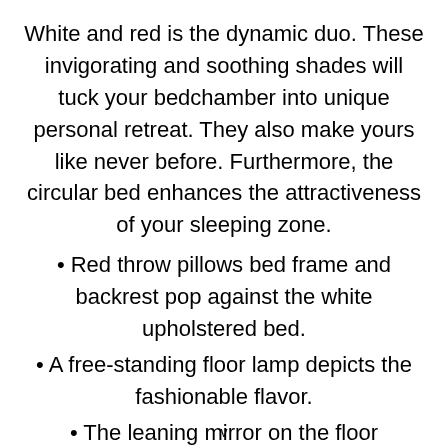White and red is the dynamic duo. These invigorating and soothing shades will tuck your bedchamber into unique personal retreat. They also make yours like never before. Furthermore, the circular bed enhances the attractiveness of your sleeping zone.
Red throw pillows bed frame and backrest pop against the white upholstered bed.
A free-standing floor lamp depicts the fashionable flavor.
The leaning mirror on the floor complements the whole space.
v